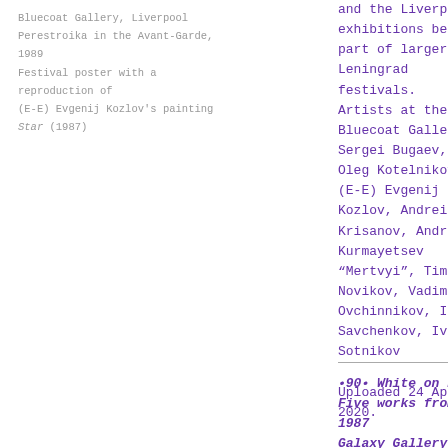Bluecoat Gallery, Liverpool
Perestroika in the Avant-Garde, 1989
Festival poster with a reproduction of
(E-E) Evgenij Kozlov's painting Star (1987)
and the Liverpool exhibitions became part of larger Leningrad festivals.
Artists at the Bluecoat Gallery: Sergei Bugaev, Oleg Kotelnikov, (E-E) Evgenij Kozlov, Andrei Krisanov, Andrey Kurmayetsev “Mertvyi”, Timur Novikov, Vadim Ovchinnikov, Inal Savchenkov, Ivan Sotnikov

Uploaded 24 April 2020.
•90• White on Red Five works from 1987
Galaxy Gallery, Peterhof, Leningrad